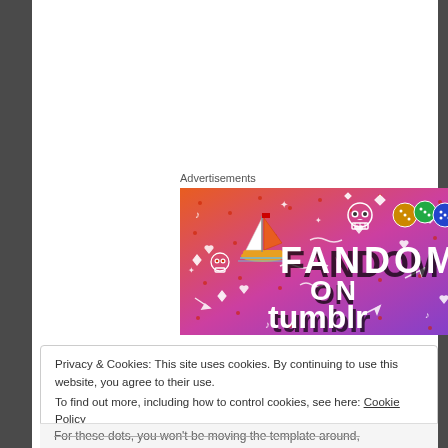Advertisements
[Figure (illustration): Fandom on Tumblr advertisement banner with gradient background from orange to purple, featuring white doodle icons (sailboat, skull, dice, hearts, stars, arrows, music notes) and bold text reading 'FANDOM ON tumblr']
Privacy & Cookies: This site uses cookies. By continuing to use this website, you agree to their use.
To find out more, including how to control cookies, see here: Cookie Policy
Close and accept
For these dots, you won't be moving the template around,